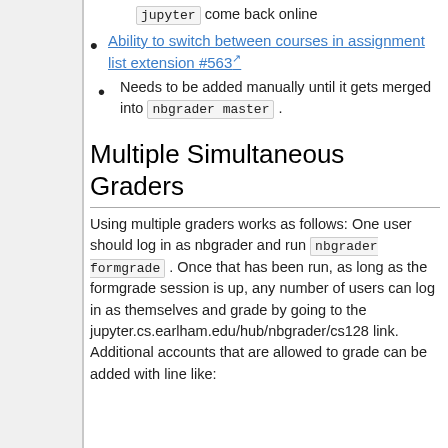jupyter come back online
Ability to switch between courses in assignment list extension #563
Needs to be added manually until it gets merged into nbgrader master .
Multiple Simultaneous Graders
Using multiple graders works as follows: One user should log in as nbgrader and run nbgrader formgrade . Once that has been run, as long as the formgrade session is up, any number of users can log in as themselves and grade by going to the jupyter.cs.earlham.edu/hub/nbgrader/cs128 link. Additional accounts that are allowed to grade can be added with line like: